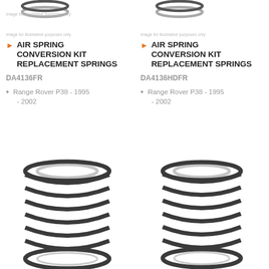[Figure (photo): Top portion of a coil spring, image for illustrative purposes only, left product]
Image for illustrative purposes only
AIR SPRING CONVERSION KIT REPLACEMENT SPRINGS
DA4136FR
Range Rover P38 - 1995 - 2002
[Figure (photo): Top portion of a coil spring, image for illustrative purposes only, right product]
Image for illustrative purposes only
AIR SPRING CONVERSION KIT REPLACEMENT SPRINGS
DA4136HDFR
Range Rover P38 - 1995 - 2002
[Figure (photo): Full coil spring product photo, left]
[Figure (photo): Full coil spring product photo, right]